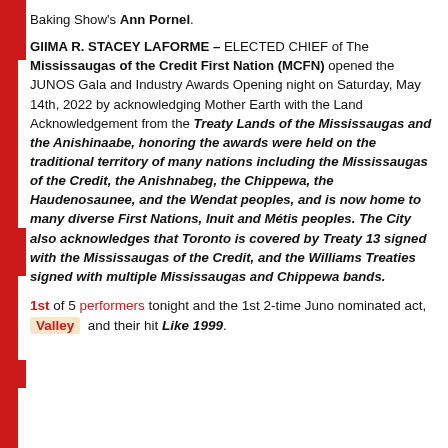Baking Show's Ann Pornel.
GIIMA R. STACEY LAFORME – ELECTED CHIEF of The Mississaugas of the Credit First Nation (MCFN) opened the JUNOS Gala and Industry Awards Opening night on Saturday, May 14th, 2022 by acknowledging Mother Earth with the Land Acknowledgement from the Treaty Lands of the Mississaugas and the Anishinaabe, honoring the awards were held on the traditional territory of many nations including the Mississaugas of the Credit, the Anishnabeg, the Chippewa, the Haudenosaunee, and the Wendat peoples, and is now home to many diverse First Nations, Inuit and Métis peoples. The City also acknowledges that Toronto is covered by Treaty 13 signed with the Mississaugas of the Credit, and the Williams Treaties signed with multiple Mississaugas and Chippewa bands.
1st of 5 performers tonight and the 1st 2-time Juno nominated act, Valley and their hit Like 1999.